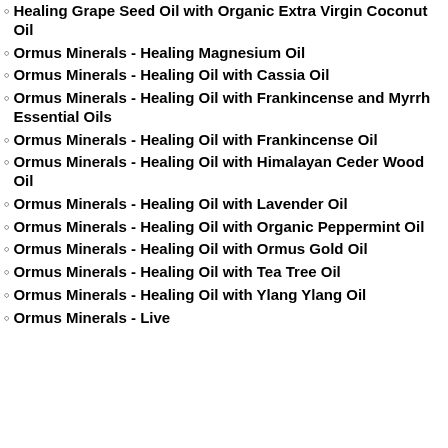Healing Grape Seed Oil with Organic Extra Virgin Coconut Oil
Ormus Minerals - Healing Magnesium Oil
Ormus Minerals - Healing Oil with Cassia Oil
Ormus Minerals - Healing Oil with Frankincense and Myrrh Essential Oils
Ormus Minerals - Healing Oil with Frankincense Oil
Ormus Minerals - Healing Oil with Himalayan Ceder Wood Oil
Ormus Minerals - Healing Oil with Lavender Oil
Ormus Minerals - Healing Oil with Organic Peppermint Oil
Ormus Minerals - Healing Oil with Ormus Gold Oil
Ormus Minerals - Healing Oil with Tea Tree Oil
Ormus Minerals - Healing Oil with Ylang Ylang Oil
Ormus Minerals - Live